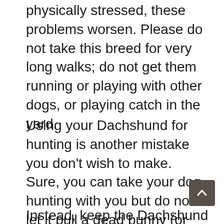physically stressed, these problems worsen. Please do not take this breed for very long walks; do not get them running or playing with other dogs, or playing catch in the yard.
Using your Dachshund for hunting is another mistake you don't wish to make. Sure, you can take your dog hunting with you but do not let it pull a dead bunny (or anything!) back to you. If it does, do not let it drag it through the grass!
Instead, keep the Dachshund on a